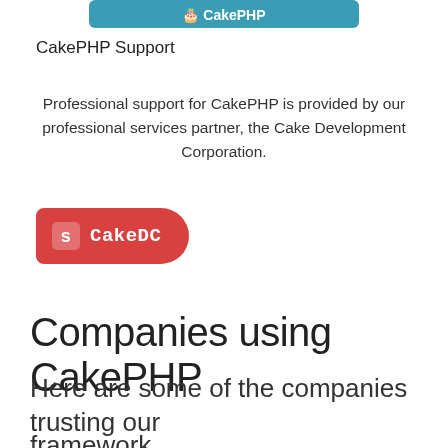[Figure (logo): CakePHP logo — blue rounded rectangle with white icon/text]
CakePHP Support
Professional support for CakePHP is provided by our professional services partner, the Cake Development Corporation.
[Figure (logo): CakeDC red button with Skype-style icon and text 'CakeDC']
Companies using CakePHP
Here are some of the companies trusting our framework.